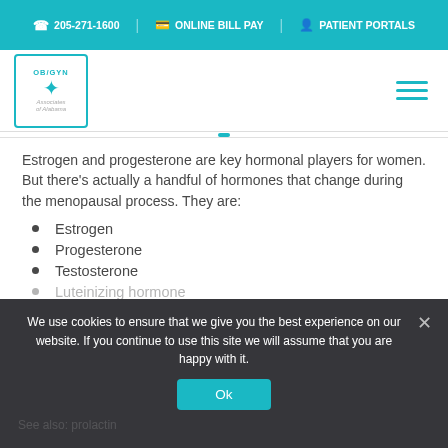205-271-1600  ONLINE BILL PAY  PATIENT PORTALS
[Figure (logo): OB/GYN Associates of Alabama logo in teal border box]
Estrogen and progesterone are key hormonal players for women. But there's actually a handful of hormones that change during the menopausal process. They are:
Estrogen
Progesterone
Testosterone
Luteinizing hormone
We use cookies to ensure that we give you the best experience on our website. If you continue to use this site we will assume that you are happy with it.